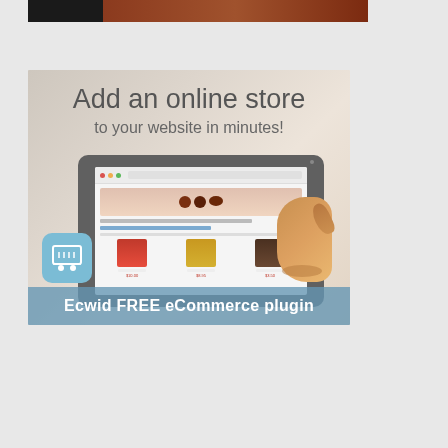[Figure (illustration): Top partial banner strip showing dark left portion and wood-texture right portion]
[Figure (infographic): Advertisement banner for Ecwid FREE eCommerce plugin. Shows text 'Add an online store to your website in minutes!' with a tablet device displaying a chocolate shop e-commerce website, a shopping cart icon, and a blue bottom bar reading 'Ecwid FREE eCommerce plugin']